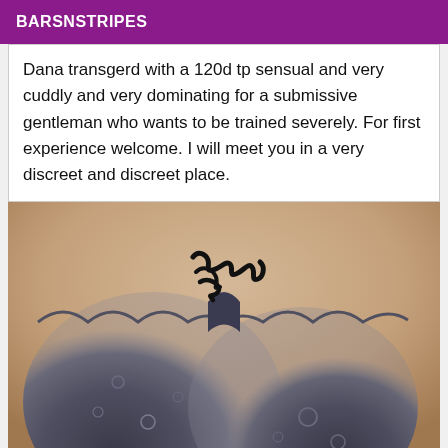BARSNSTRIPES
Dana transgerd with a 120d tp sensual and very cuddly and very dominating for a submissive gentleman who wants to be trained severely. For first experience welcome. I will meet you in a very discreet and discreet place.
[Figure (photo): Photo showing person wearing dark grey lace lingerie bra, with a black scribble/redaction mark drawn over the center chest area. Image is cropped to show chest area only against a skin-toned background.]